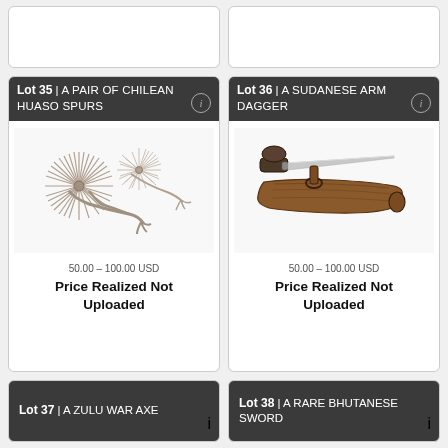[Figure (photo): Partial top card (lot unknown) - white card with border, mostly empty]
[Figure (photo): Partial top card (lot unknown) - white card with border, mostly empty]
Lot 35 | A PAIR OF CHILEAN HUASO SPURS
[Figure (photo): A pair of Chilean Huaso spurs with large star-shaped rowels, silver colored metal]
50.00 - 100.00 USD
Price Realized Not Uploaded
Lot 36 | A SUDANESE ARM DAGGER
[Figure (photo): A Sudanese arm dagger with leather sheath and curved blade]
50.00 - 100.00 USD
Price Realized Not Uploaded
Lot 37 | A ZULU WAR AXE
Lot 38 | A RARE BHUTANESE SWORD